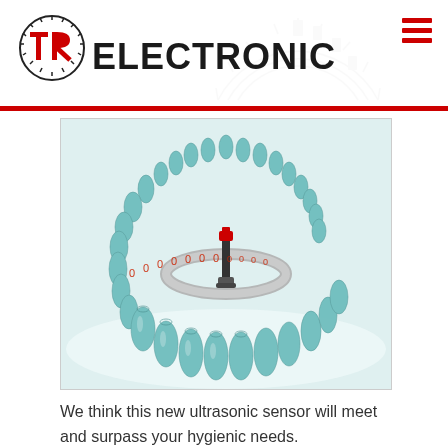[Figure (logo): TR Electronic logo with red T and R letters with gear/encoder wheel graphic, followed by bold text ELECTRONIC]
[Figure (photo): Industrial photo showing teal/blue bottles arranged in a circular conveyor track with an ultrasonic sensor device in the center, with red digital '0' characters streaming outward]
We think this new ultrasonic sensor will meet and surpass your hygienic needs.